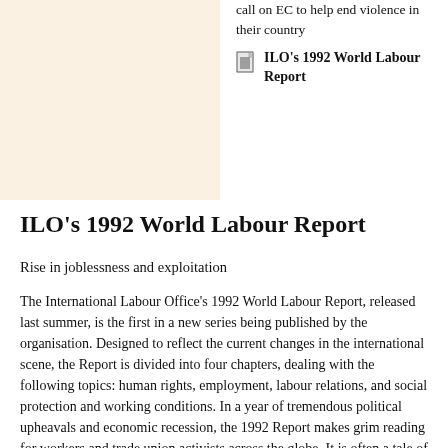call on EC to help end violence in their country
ILO's 1992 World Labour Report
ILO's 1992 World Labour Report
Rise in joblessness and exploitation
The International Labour Office's 1992 World Labour Report, released last summer, is the first in a new series being published by the organisation. Designed to reflect the current changes in the international scene, the Report is divided into four chapters, dealing with the following topics: human rights, employment, labour relations, and social protection and working conditions. In a year of tremendous political upheavals and economic recession, the 1992 Report makes grim reading for workers and trade union activists across the globe. It is often a tale of murder and imprisonment, but above all